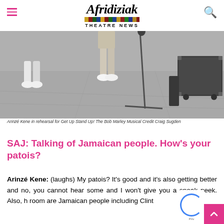Afridiziak THEATRE NEWS
[Figure (photo): Black and white rehearsal photo showing performers' legs and feet on a stage floor with a microphone stand and equipment cases in the background]
Arinzé Kene in rehearsal for Get Up Stand Up! The Bob Marley Musical Credit Craig Sugden
SAJ: Talking of Jamaican people. How's your patois?
Arinzé Kene: (laughs) My patois? It's good and it's also getting better and no, you cannot hear some and I won't give you a sneak peek. Also, h room are Jamaican people including Clint